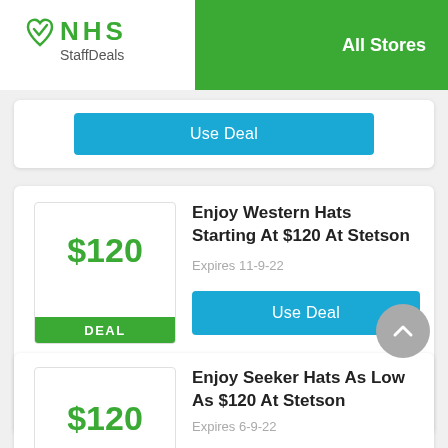[Figure (logo): NHS StaffDeals logo with green heart checkmark and green text]
All Stores
Use Deal
Enjoy Western Hats Starting At $120 At Stetson
Expires 11-9-22
Use Deal
Enjoy Seeker Hats As Low As $120 At Stetson
Expires 6-9-22